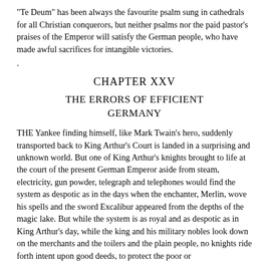"Te Deum" has been always the favourite psalm sung in cathedrals for all Christian conquerors, but neither psalms nor the paid pastor's praises of the Emperor will satisfy the German people, who have made awful sacrifices for intangible victories.
.
CHAPTER XXV
THE ERRORS OF EFFICIENT GERMANY
THE Yankee finding himself, like Mark Twain's hero, suddenly transported back to King Arthur's Court is landed in a surprising and unknown world. But one of King Arthur's knights brought to life at the court of the present German Emperor aside from steam, electricity, gun powder, telegraph and telephones would find the system as despotic as in the days when the enchanter, Merlin, wove his spells and the sword Excalibur appeared from the depths of the magic lake. But while the system is as royal and as despotic as in King Arthur's day, while the king and his military nobles look down on the merchants and the toilers and the plain people, no knights ride forth intent upon good deeds, to protect the poor or